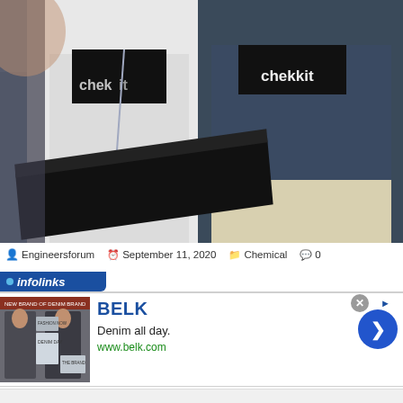[Figure (photo): Two people wearing black 'chekkit' branded t-shirts at what appears to be a conference or event. One wears a white blazer and lanyard/badge, the other wears a navy/dark blue blazer and holds a smartphone. A laptop is visible in the lower foreground.]
Engineersforum   September 11, 2020   Chemical   0
[Figure (infographic): Infolinks advertisement banner. Contains the infolinks logo/brand bar at top, followed by a BELK advertisement showing 'Denim all day.' with website www.belk.com, a fashion image on the left, and a blue navigation arrow button on the right.]